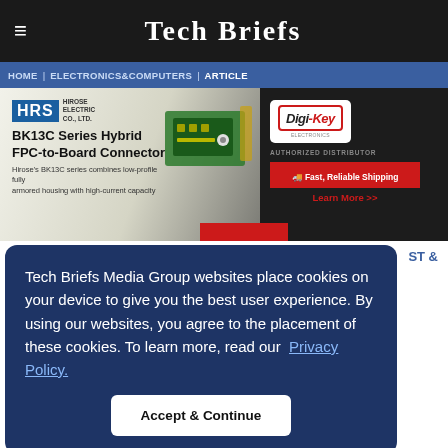Tech Briefs
HOME | ELECTRONICS & COMPUTERS | ARTICLE
[Figure (illustration): Advertisement banner for Hirose Electric BK13C Series Hybrid FPC-to-Board Connector, distributed by Digi-Key Electronics. Shows HRS logo, product images of green circuit board connectors, and Digi-Key logo with 'Authorized Distributor' and 'Fast, Reliable Shipping' text.]
Tech Briefs Media Group websites place cookies on your device to give you the best user experience. By using our websites, you agree to the placement of these cookies. To learn more, read our Privacy Policy.
Accept & Continue
ent of batteries, capacitors, and catalysts such as those